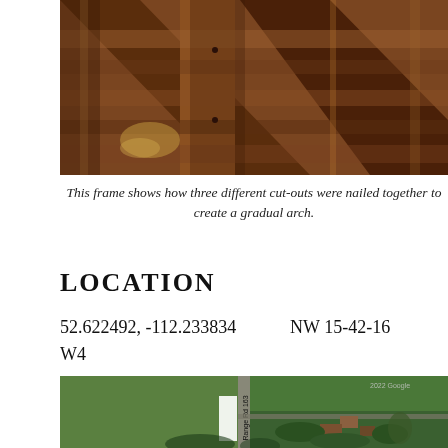[Figure (photo): Close-up photograph of wooden barn frame showing cut-out pieces nailed together forming arch joints, wood grain and construction detail visible]
This frame shows how three different cut-outs were nailed together to create a gradual arch.
LOCATION
52.622492, -112.233834    NW 15-42-16 W4
[Figure (map): Aerial satellite map view showing farmstead property located along Range Rd 163, with green agricultural fields, farm buildings, trees, and yard visible from above]